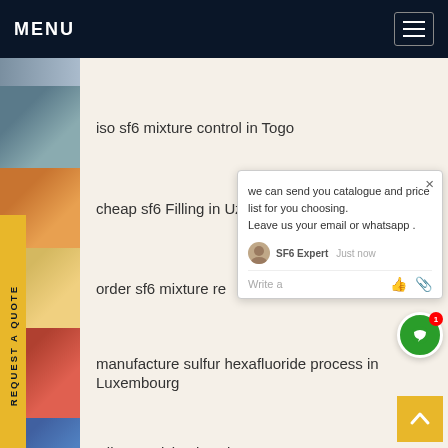MENU
iso sf6 mixture control in Togo
cheap sf6 Filling in Uzbek...
order sf6 mixture re...ca
manufacture sulfur hexafluoride process in Luxembourg
wika Servicing in Eritrea
best sf6 n2 Filling in Ireland